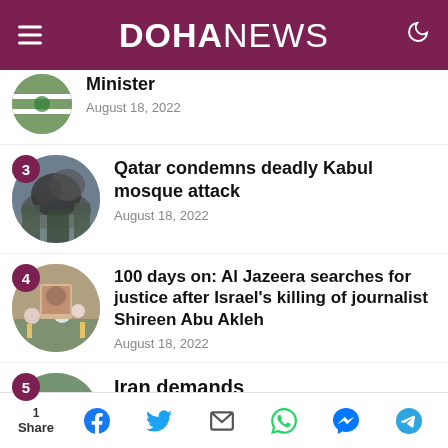DOHA NEWS
[Figure (photo): Partially visible circular thumbnail of news story 2 with Saudi flag, cropped at top]
August 18, 2022
[Figure (photo): Circular thumbnail showing smoke from Kabul mosque attack]
Qatar condemns deadly Kabul mosque attack
August 18, 2022
[Figure (photo): Circular thumbnail showing memorial flowers for Shireen Abu Akleh]
100 days on: Al Jazeera searches for justice after Israel's killing of journalist Shireen Abu Akleh
August 18, 2022
[Figure (photo): Partially visible circular thumbnail for story 5 about Iran demands]
Iran demands
1 Share | Facebook | Twitter | Email | WhatsApp | Messenger | Telegram